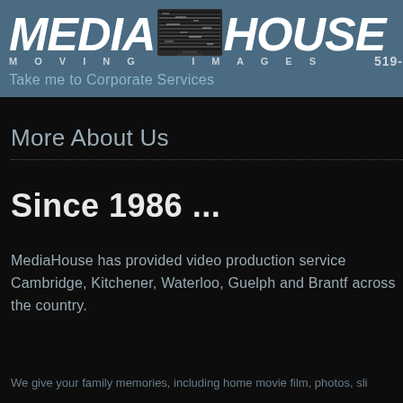[Figure (logo): MediaHouse Moving Images logo with TV screen graphic in header banner]
Take me to Corporate Services
More About Us
Since 1986 ...
MediaHouse has provided video production service Cambridge, Kitchener, Waterloo, Guelph and Brantf across the country.
We give your family memories, including home movie film, photos, sli